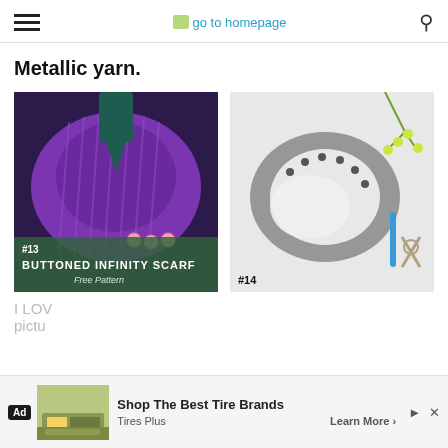go to homepage
Metallic yarn.
[Figure (photo): Purple crochet buttoned infinity scarf on a mannequin with overlay text: #13 BUTTONED INFINITY SCARF Free Pattern]
[Figure (photo): Gray crochet infinity scarf flat lay with crochet hook and scissors, labeled #14]
I LOV
pictu